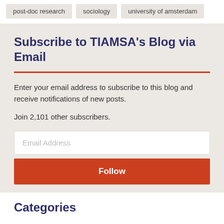post-doc research
sociology
university of amsterdam
Subscribe to TIAMSA's Blog via Email
Enter your email address to subscribe to this blog and receive notifications of new posts.
Join 2,101 other subscribers.
Email Address
Follow
Categories